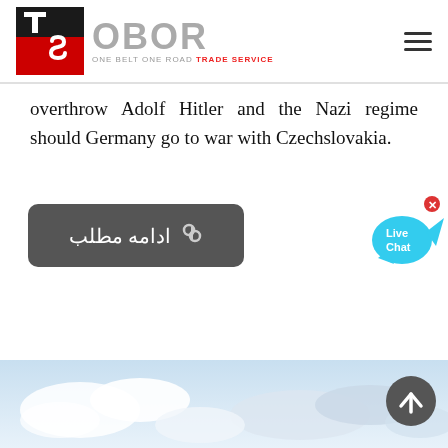[Figure (logo): OBOR Trade Service logo with red/black TS icon and grey OBOR text, ONE BELT ONE ROAD TRADE SERVICE tagline]
overthrow Adolf Hitler and the Nazi regime should Germany go to war with Czechslovakia.
[Figure (other): Dark rounded rectangle button with link icon and Arabic text 'ادامه مطلب' (Read more)]
[Figure (other): Live Chat speech bubble widget in cyan/blue color with X close button]
[Figure (photo): Cloudy sky photo at bottom of page]
[Figure (other): Scroll to top button, dark circle with upward arrow, bottom right]